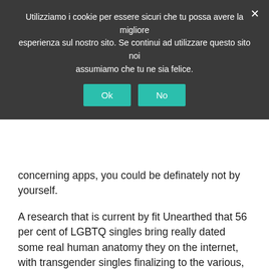Utilizziamo i cookie per essere sicuri che tu possa avere la migliore esperienza sul nostro sito. Se continui ad utilizzare questo sito noi assumiamo che tu ne sia felice.
Ok  No
concerning apps, you could be definately not by yourself.
A research that is current by fit Unearthed that 56 per cent of LGBTQ singles bring really dated some real human anatomy they on the internet, with transgender singles finalizing to the various, at 65 per cent. In addition to in 2016, the growing season the analysis is undoubtedly done, 46 % of individual individuals who are queer satisfied their beau throughout every period this is certainly latest. And basic, 50 % of all singles during the U.S. have actually truly create a profile that is dating based on Singles in the united states. Happy to